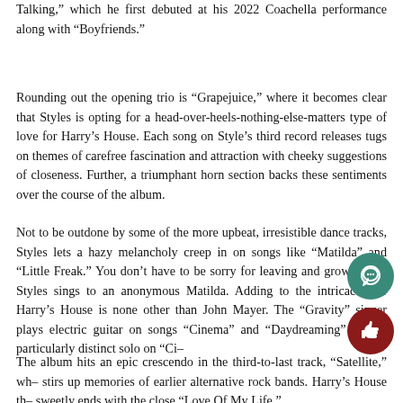Talking," which he first debuted at his 2022 Coachella performance along with "Boyfriends."
Rounding out the opening trio is "Grapejuice," where it becomes clear that Styles is opting for a head-over-heels-nothing-else-matters type of love for Harry’s House. Each song on Style’s third record releases tugs on themes of carefree fascination and attraction with cheeky suggestions of closeness. Further, a triumphant horn section backs these sentiments over the course of the album.
Not to be outdone by some of the more upbeat, irresistible dance tracks, Styles lets a hazy melancholy creep in on songs like “Matilda” and “Little Freak.” You don’t have to be sorry for leaving and growing up, Styles sings to an anonymous Matilda. Adding to the intricacies of Harry’s House is none other than John Mayer. The “Gravity” singer plays electric guitar on songs “Cinema” and “Daydreaming” with a particularly distinct solo on “Ci–
The album hits an epic crescendo in the third-to-last track, “Satellite,” which stirs up memories of earlier alternative rock bands. Harry’s House th– sweetly ends with the close “Love Of My Life.”